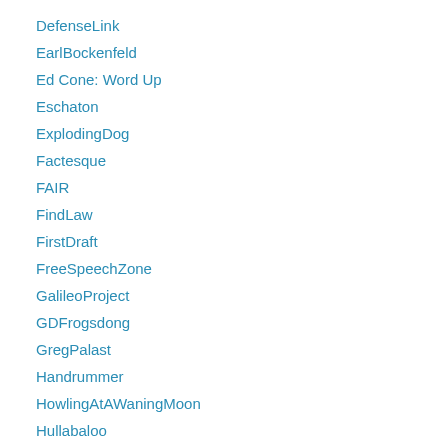DefenseLink
EarlBockenfeld
Ed Cone: Word Up
Eschaton
ExplodingDog
Factesque
FAIR
FindLaw
FirstDraft
FreeSpeechZone
GalileoProject
GDFrogsdong
GregPalast
Handrummer
HowlingAtAWaningMoon
Hullabaloo
HumanRightsWatch
IdentityTheory
Idyllopus
Iraq Dispatches
James Wolcott
Jesus' General